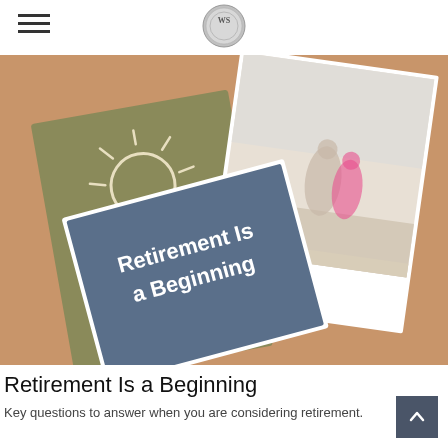WS logo header
[Figure (photo): Promotional image showing retirement-themed cards on a tan/brown background. One card is blue with text 'Retirement Is a Beginning', another shows a sun and waves illustration on olive/khaki background, and a third shows a photo of an elderly couple walking on a beach.]
Retirement Is a Beginning
Key questions to answer when you are considering retirement.